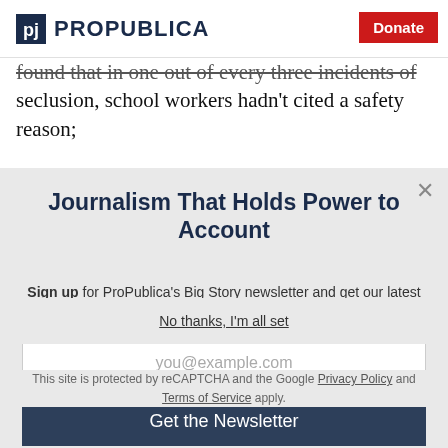ProPublica | Donate
found that in one out of every three incidents of seclusion, school workers hadn't cited a safety reason;
Journalism That Holds Power to Account
Sign up for ProPublica's Big Story newsletter and get our latest stories delivered straight to your inbox.
you@example.com
Get the Newsletter
No thanks, I'm all set
This site is protected by reCAPTCHA and the Google Privacy Policy and Terms of Service apply.